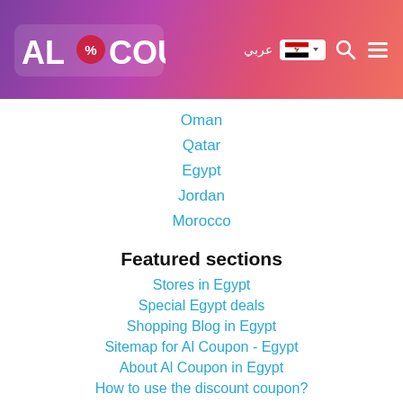Al Coupon - navigation header with logo, Arabic text, Egypt flag, search and menu icons
Oman
Qatar
Egypt
Jordan
Morocco
Featured sections
Stores in Egypt
Special Egypt deals
Shopping Blog in Egypt
Sitemap for Al Coupon - Egypt
About Al Coupon in Egypt
How to use the discount coupon?
Noon Coupon code